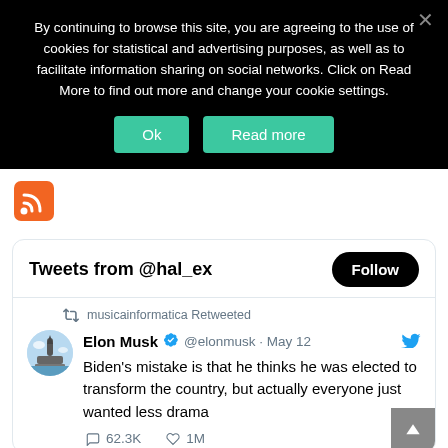By continuing to browse this site, you are agreeing to the use of cookies for statistical and advertising purposes, as well as to facilitate information sharing on social networks. Click on Read More to find out more and change your cookie settings.
[Figure (screenshot): RSS feed icon - orange square with white RSS signal symbol]
Tweets from @hal_ex
musicainformatica Retweeted
Elon Musk @elonmusk · May 12
Biden's mistake is that he thinks he was elected to transform the country, but actually everyone just wanted less drama
62.3K  1M